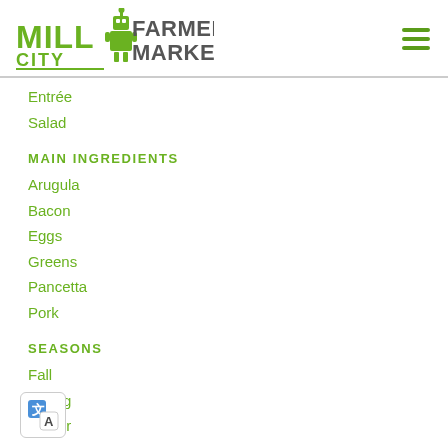Mill City Farmers Market
Entrée
Salad
MAIN INGREDIENTS
Arugula
Bacon
Eggs
Greens
Pancetta
Pork
SEASONS
Fall
Spring
Winter